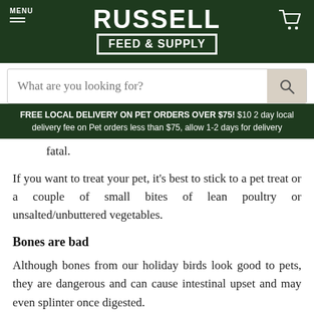[Figure (logo): Russell Feed & Supply logo with green background, MENU button and hamburger icon top left, shopping cart icon top right, search bar below]
FREE LOCAL DELIVERY ON PET ORDERS OVER $75! $10 2 day local delivery fee on Pet orders less than $75, allow 1-2 days for delivery
fatal.
If you want to treat your pet, it's best to stick to a pet treat or a couple of small bites of lean poultry or unsalted/unbuttered vegetables.
Bones are bad
Although bones from our holiday birds look good to pets, they are dangerous and can cause intestinal upset and may even splinter once digested.